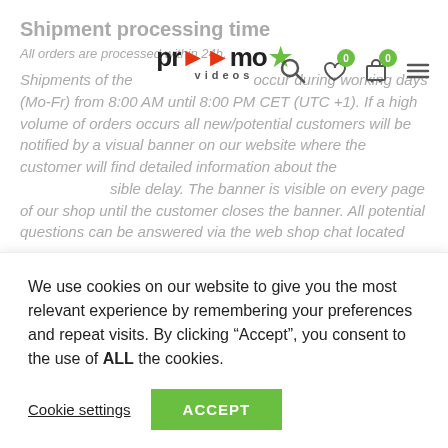Shipment processing time
All orders are processed within 24h.
Shipments of the viral video products will occur during working days (Mo-Fr) from 8:00 AM until 8:00 PM CET (UTC +1). If a high volume of orders occurs all new/potential customers will be notified by a visual banner on our website where the customer will find detailed information about the possible delay. The banner is visible on every page of our shop until the customer closes the banner. All potential questions can be answered via the web shop chat located
[Figure (screenshot): Website navigation bar with Promo Videos logo, search icon, wishlist icon with badge 0, cart icon with badge 0, and hamburger menu icon]
We use cookies on our website to give you the most relevant experience by remembering your preferences and repeat visits. By clicking “Accept”, you consent to the use of ALL the cookies.
Cookie settings   ACCEPT